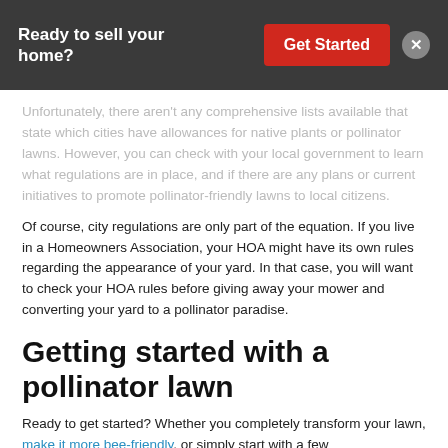Ready to sell your home? | Get Started
Unfortunately, there aren't any comprehensive lists available that state which cities have allowances for native plants or pollinator lawns. However, you can check with your local government to learn what regulations are in place, and if there are any plans or current initiatives to promote pollinator-friendly lawns to local citizens.
Of course, city regulations are only part of the equation. If you live in a Homeowners Association, your HOA might have its own rules regarding the appearance of your yard. In that case, you will want to check your HOA rules before giving away your mower and converting your yard to a pollinator paradise.
Getting started with a pollinator lawn
Ready to get started? Whether you completely transform your lawn, make it more bee-friendly, or simply start with a few